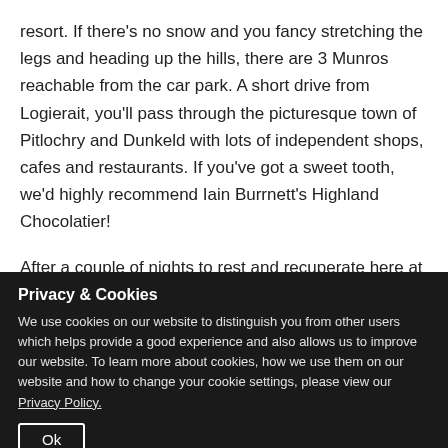resort. If there's no snow and you fancy stretching the legs and heading up the hills, there are 3 Munros reachable from the car park. A short drive from Logierait, you'll pass through the picturesque town of Pitlochry and Dunkeld with lots of independent shops, cafes and restaurants. If you've got a sweet tooth, we'd highly recommend Iain Burrnett's Highland Chocolatier!
After a couple of nights to rest and recuperate here at
Privacy & Cookies
We use cookies on our website to distinguish you from other users which helps provide a good experience and also allows us to improve our website. To learn more about cookies, how we use them on our website and how to change your cookie settings, please view our Privacy Policy.
Ok